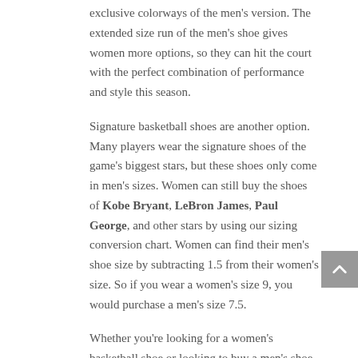exclusive colorways of the men's version. The extended size run of the men's shoe gives women more options, so they can hit the court with the perfect combination of performance and style this season.
Signature basketball shoes are another option. Many players wear the signature shoes of the game's biggest stars, but these shoes only come in men's sizes. Women can still buy the shoes of Kobe Bryant, LeBron James, Paul George, and other stars by using our sizing conversion chart. Women can find their men's shoe size by subtracting 1.5 from their women's size. So if you wear a women's size 9, you would purchase a men's size 7.5.
Whether you're looking for a women's basketball shoe or looking to buy a men's shoe in your size, Eastbay has more options you'll find anywhere.